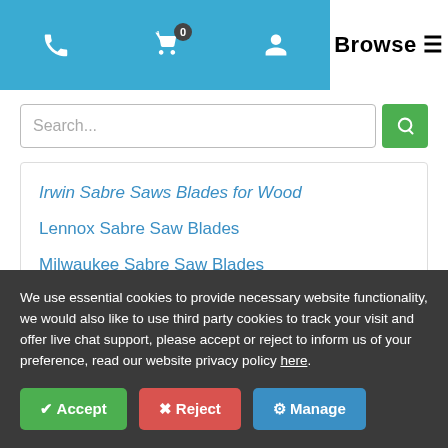Browse
Search...
Irwin Sabre Saws Blades for Wood
Lennox Sabre Saw Blades
Milwaukee Sabre Saw Blades
We use essential cookies to provide necessary website functionality, we would also like to use third party cookies to track your visit and offer live chat support, please accept or reject to inform us of your preference, read our website privacy policy here.
Accept | Reject | Manage